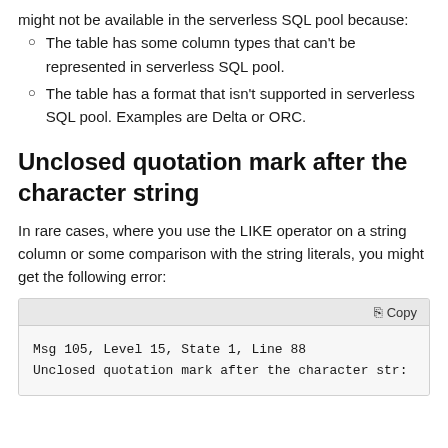might not be available in the serverless SQL pool because:
The table has some column types that can't be represented in serverless SQL pool.
The table has a format that isn't supported in serverless SQL pool. Examples are Delta or ORC.
Unclosed quotation mark after the character string
In rare cases, where you use the LIKE operator on a string column or some comparison with the string literals, you might get the following error:
Msg 105, Level 15, State 1, Line 88
Unclosed quotation mark after the character str: